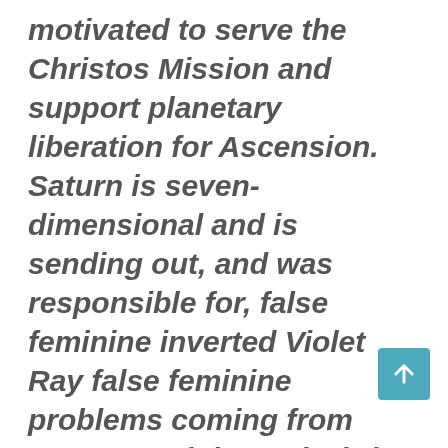motivated to serve the Christos Mission and support planetary liberation for Ascension. Saturn is seven-dimensional and is sending out, and was responsible for, false feminine inverted Violet Ray false feminine problems coming from Saturn, and the anti-Christ couple is Osiris and Isis that hold together that balance. Anti-Christ 7D Isis was connected to lunar demon Nefertiti clones. This is a trinity of Anti-Christ entities that are imposters of the masculine and feminine. In this principle these are entities in